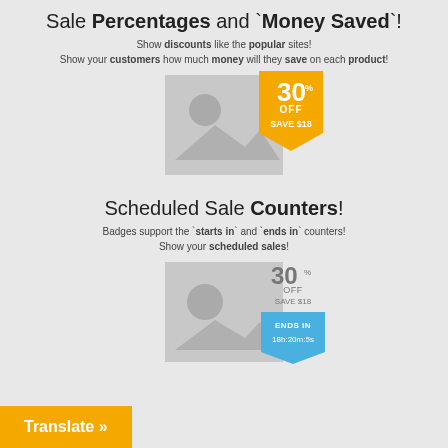Sale Percentages and `Money Saved`!
Show discounts like the popular sites!
Show your customers how much money will they save on each product!
[Figure (illustration): Product image placeholder with a yellow badge showing 30% OFF SAVE $18]
Scheduled Sale Counters!
Badges support the `starts in` and `ends in` counters!
Show your scheduled sales!
[Figure (illustration): Product image placeholder with gray badge showing 30% OFF SAVE $18 and blue ENDS IN countdown badge]
Translate »